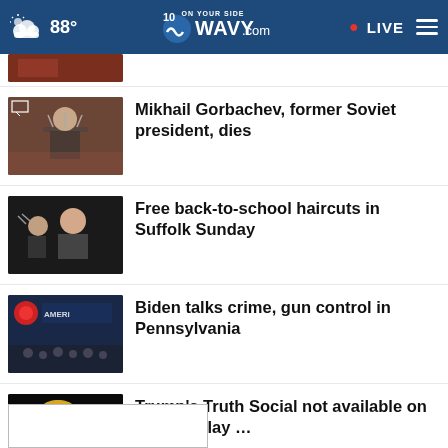88° WAVY.com ON YOUR SIDE 10 • LIVE
[Figure (screenshot): Partial thumbnail of a news story at top (cropped)]
Mikhail Gorbachev, former Soviet president, dies
Free back-to-school haircuts in Suffolk Sunday
Biden talks crime, gun control in Pennsylvania
Trump's Truth Social not available on Google Play …
Victim dies two weeks after assault at VB business
[Figure (other): Advertisement placeholder box at bottom]